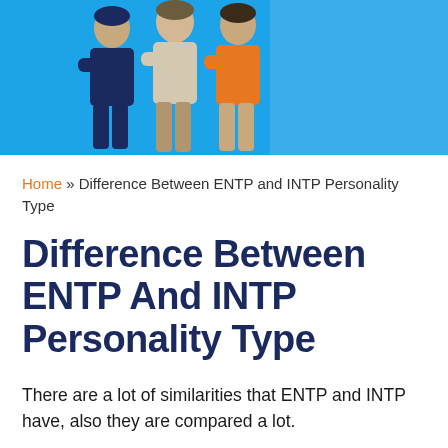[Figure (illustration): Blue banner header with illustrated figures of three people standing with arms crossed, wearing dark navy and orange outfits, against a bright blue background.]
Home » Difference Between ENTP and INTP Personality Type
Difference Between ENTP And INTP Personality Type
There are a lot of similarities that ENTP and INTP have, also they are compared a lot.